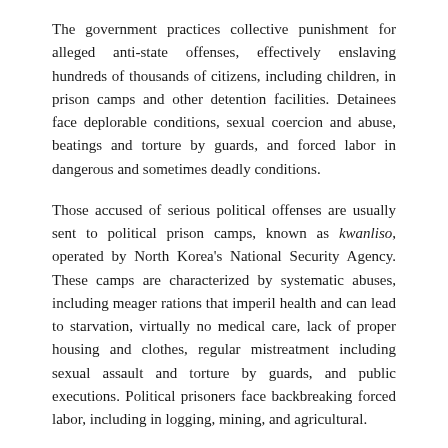The government practices collective punishment for alleged anti-state offenses, effectively enslaving hundreds of thousands of citizens, including children, in prison camps and other detention facilities. Detainees face deplorable conditions, sexual coercion and abuse, beatings and torture by guards, and forced labor in dangerous and sometimes deadly conditions.
Those accused of serious political offenses are usually sent to political prison camps, known as kwanliso, operated by North Korea's National Security Agency. These camps are characterized by systematic abuses, including meager rations that imperil health and can lead to starvation, virtually no medical care, lack of proper housing and clothes, regular mistreatment including sexual assault and torture by guards, and public executions. Political prisoners face backbreaking forced labor, including in logging, mining, and agricultural.
UN officials estimate that between 80,000 and 120,000